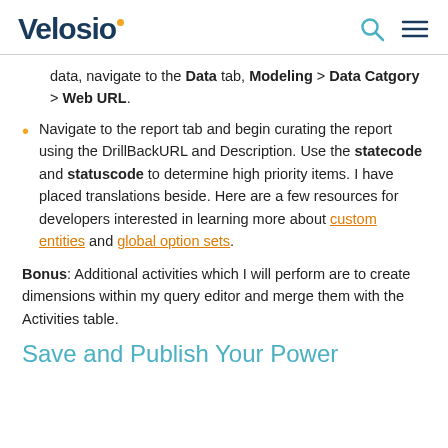Velosio
data, navigate to the Data tab, Modeling > Data Catgory > Web URL.
Navigate to the report tab and begin curating the report using the DrillBackURL and Description. Use the statecode and statuscode to determine high priority items. I have placed translations beside. Here are a few resources for developers interested in learning more about custom entities and global option sets.
Bonus: Additional activities which I will perform are to create dimensions within my query editor and merge them with the Activities table.
Save and Publish Your Power